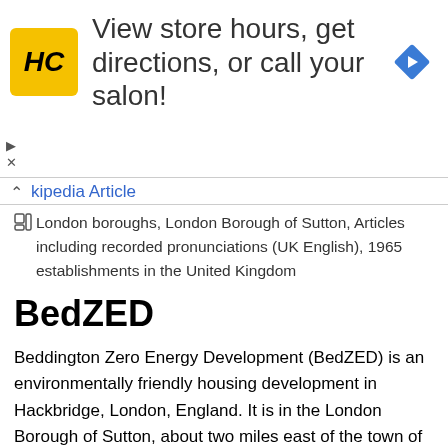[Figure (infographic): Advertisement banner: HC logo (yellow square with HC in italic black text), text 'View store hours, get directions, or call your salon!', and a blue diamond-shaped navigation arrow icon on the right.]
kipedia Article
London boroughs, London Borough of Sutton, Articles including recorded pronunciations (UK English), 1965 establishments in the United Kingdom
BedZED
Beddington Zero Energy Development (BedZED) is an environmentally friendly housing development in Hackbridge, London, England. It is in the London Borough of Sutton, about two miles east of the town of Sutton itself. It was designed by the architect Bill Dunster to support a more sustainable lifestyle. The project was led by the Peabody Trust in partnership with Bill Dunster Architects, Ellis & Moore Consulting Engineers, BioRegional, Arup and the cost consultants Gardiner and Theobald